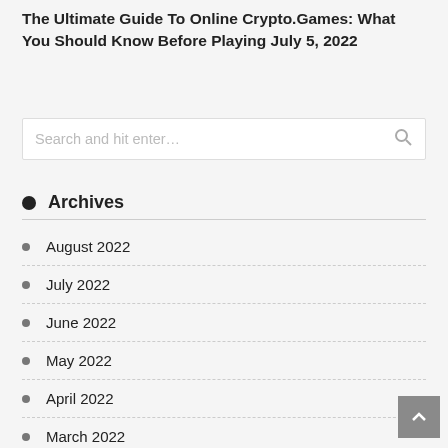The Ultimate Guide To Online Crypto.Games: What You Should Know Before Playing July 5, 2022
Search and hit enter…
Archives
August 2022
July 2022
June 2022
May 2022
April 2022
March 2022